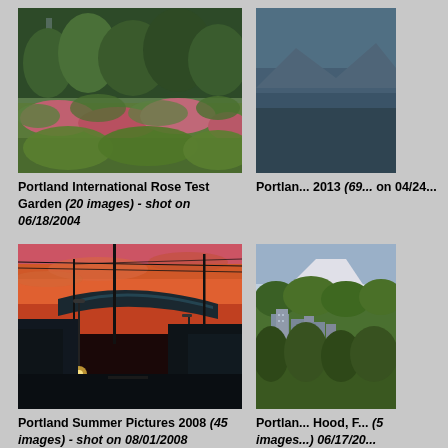[Figure (photo): Portland International Rose Test Garden - lush green garden with trees, flowers, and rose beds on a summer day]
Portland International Rose Test Garden (20 images) - shot on 06/18/2004
[Figure (photo): Portland 2013 - aerial/landscape view, partially cropped at right edge]
Portland 2013 (69 images) - shot on 04/24/...
[Figure (photo): Portland Summer Pictures 2008 - urban scene at sunset/dusk with orange-pink sky, building with curved roof, street lights and utility poles]
Portland Summer Pictures 2008 (45 images) - shot on 08/01/2008
[Figure (photo): Portland with Mt. Hood - city skyline with green trees and Mount Hood visible in background, partially cropped]
Portland... Hood, F... (5 images) - shot on 06/17/20...